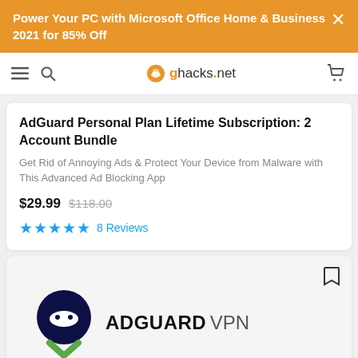Power Your PC with Microsoft Office Home & Business 2021 for 85% Off
ghacks.net navigation bar
AdGuard Personal Plan Lifetime Subscription: 2 Account Bundle
Get Rid of Annoying Ads & Protect Your Device from Malware with This Advanced Ad Blocking App
$29.99  $118.00
★★★★★ 8 Reviews
[Figure (logo): AdGuard VPN logo: dark navy circle with ninja mask face and green chevron below, next to bold text ADGUARD VPN]
+